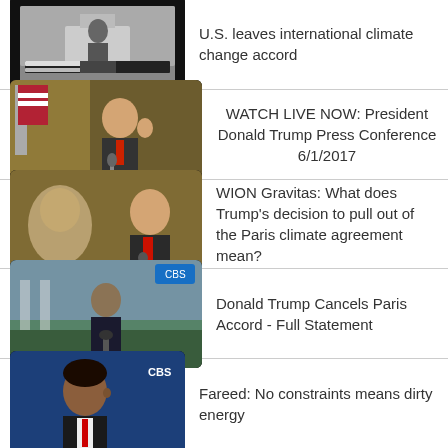U.S. leaves international climate change accord
WATCH LIVE NOW: President Donald Trump Press Conference 6/1/2017
WION Gravitas: What does Trump's decision to pull out of the Paris climate agreement mean?
Donald Trump Cancels Paris Accord - Full Statement
Fareed: No constraints means dirty energy